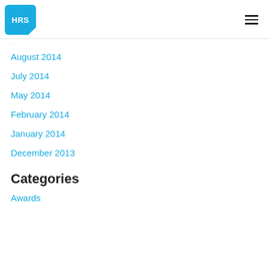HRS
August 2014
July 2014
May 2014
February 2014
January 2014
December 2013
Categories
Awards